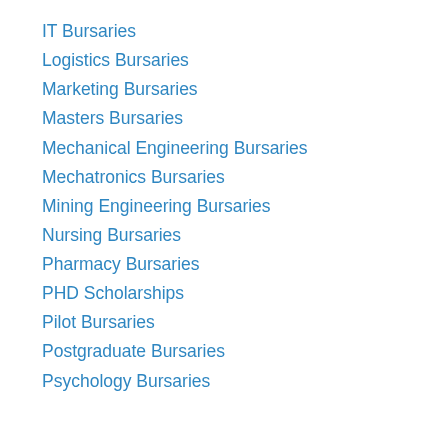IT Bursaries
Logistics Bursaries
Marketing Bursaries
Masters Bursaries
Mechanical Engineering Bursaries
Mechatronics Bursaries
Mining Engineering Bursaries
Nursing Bursaries
Pharmacy Bursaries
PHD Scholarships
Pilot Bursaries
Postgraduate Bursaries
Psychology Bursaries